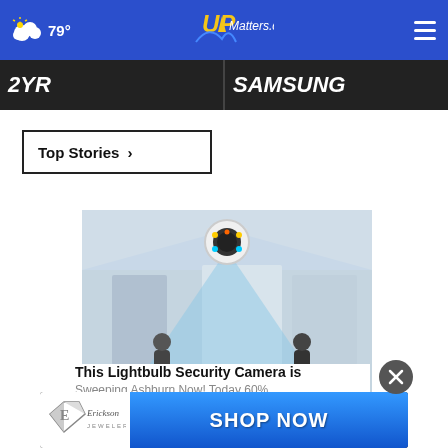79° UPMatters.com
[Figure (screenshot): Dark navigation strip showing partially visible text on left and right panels]
Top Stories ›
[Figure (photo): Advertisement showing a lightbulb security camera mounted on ceiling scanning a room with two people, with text 'This Lightbulb Security Camera is Sweeping Ashburn Now! Today 60%']
[Figure (screenshot): Erickson Jewelers advertisement banner with diamond logo and SHOP NOW button]